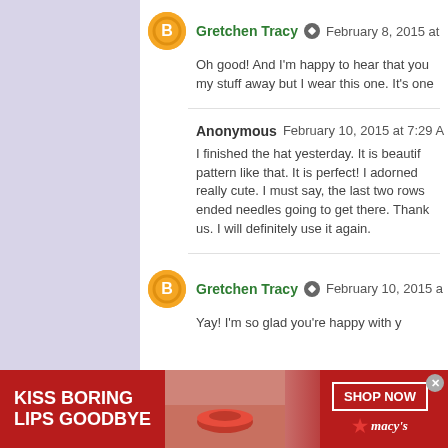Gretchen Tracy | February 8, 2015 at [time]
Oh good! And I'm happy to hear that you... my stuff away but I wear this one. It's one...
Anonymous | February 10, 2015 at 7:29 A...
I finished the hat yesterday. It is beautif... pattern like that. It is perfect! I adorned... really cute. I must say, the last two rows... ended needles going to get there. Thanks... us. I will definitely use it again.
Gretchen Tracy | February 10, 2015 a...
Yay! I'm so glad you're happy with y...
[Figure (screenshot): Macy's advertisement banner: red background, woman with red lips, text 'KISS BORING LIPS GOODBYE', 'SHOP NOW' button, Macy's star logo]